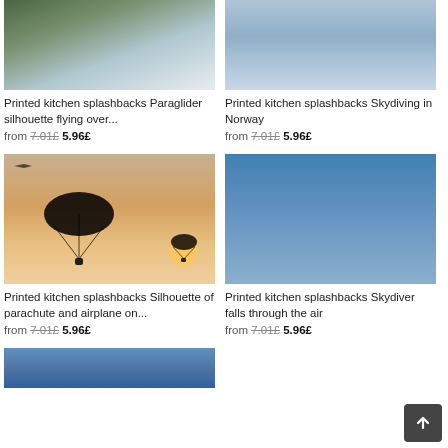[Figure (photo): Aerial view of a fjord with mountains and reflective water, paraglider silhouette visible]
Printed kitchen splashbacks Paraglider silhouette flying over...
from 7.01£ 5.96£
[Figure (photo): Skydiver in freefall against a sky background over Norway]
Printed kitchen splashbacks Skydiving in Norway
from 7.01£ 5.96£
[Figure (photo): Silhouette of parachute and airplane at sunset with warm orange sky]
Printed kitchen splashbacks Silhouette of parachute and airplane on...
from 7.01£ 5.96£
[Figure (photo): Skydiver falling through the air above landscape, wearing blue suit]
Printed kitchen splashbacks Skydiver falls through the air
from 7.01£ 5.96£
[Figure (photo): Partial view of another paraglider photo at bottom of page]